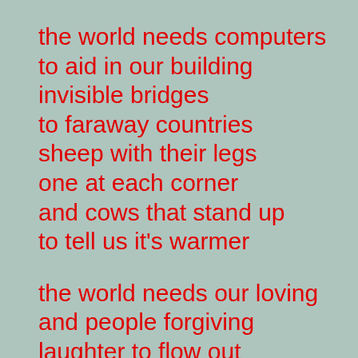the world needs computers
to aid in our building
invisible bridges
to faraway countries
sheep with their legs
one at each corner
and cows that stand up
to tell us it's warmer

the world needs our loving
and people forgiving
laughter to flow out
in healing believing
dreams to come true
under stars safe our nights
and days where we learn